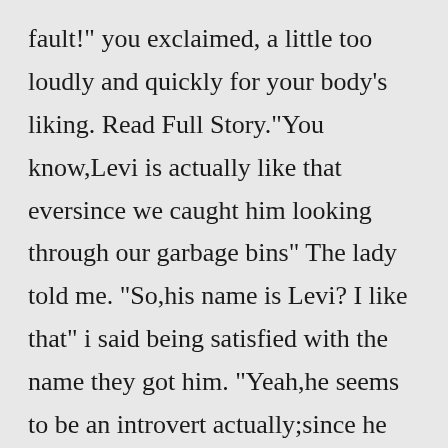fault!" you exclaimed, a little too loudly and quickly for your body's liking. Read Full Story."You know,Levi is actually like that eversince we caught him looking through our garbage bins" The lady told me. "So,his name is Levi? I like that" i said being satisfied with the name they got him. "Yeah,he seems to be an introvert actually;since he does'nt actually plays with the cats" the lady said."Oh, sorry, I didn't